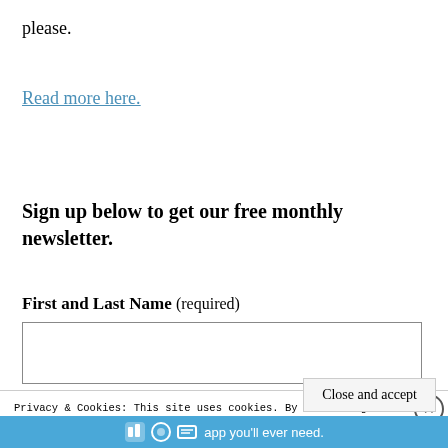please.
Read more here.
Sign up below to get our free monthly newsletter.
First and Last Name (required)
Privacy & Cookies: This site uses cookies. By continuing to use this website, you agree to their use.
To find out more, including how to control cookies, see here: Cookie Policy
Close and accept
[Figure (screenshot): Blue advertisement banner at bottom reading 'app you'll ever need.' with icons]